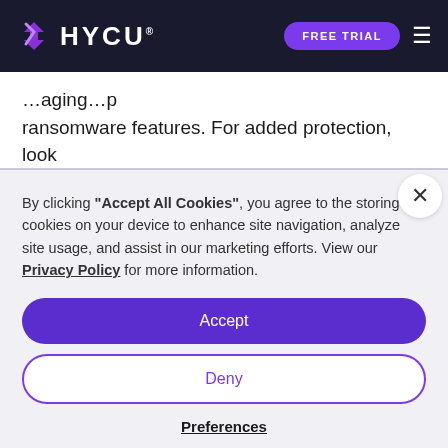HYCU | FREE TRIAL
ransomware features. For added protection, look for a backup and recovery solution that allows u
By clicking "Accept All Cookies", you agree to the storing of cookies on your device to enhance site navigation, analyze site usage, and assist in our marketing efforts. View our Privacy Policy for more information.
Accept
Deny
Preferences